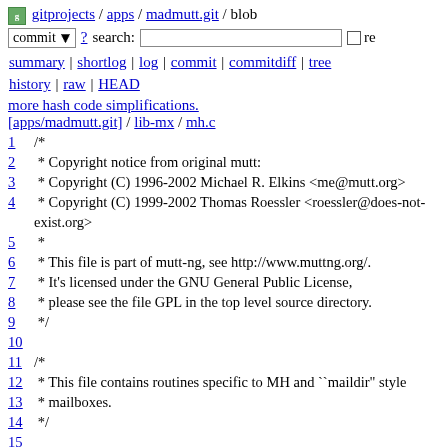gitprojects / apps / madmutt.git / blob
commit ▾ ? search:  □ re
summary | shortlog | log | commit | commitdiff | tree
history | raw | HEAD
more hash code simplifications.
[apps/madmutt.git] / lib-mx / mh.c
1 /*
2  * Copyright notice from original mutt:
3  * Copyright (C) 1996-2002 Michael R. Elkins <me@mutt.org>
4  * Copyright (C) 1999-2002 Thomas Roessler <roessler@does-not-exist.org>
5  *
6  * This file is part of mutt-ng, see http://www.muttng.org/.
7  * It's licensed under the GNU General Public License,
8  * please see the file GPL in the top level source directory.
9  */
10
11 /*
12  * This file contains routines specific to MH and ``maildir" style
13  * mailboxes.
14  */
15
16 #include <lib-lib/lib-lib.h>
17 #include <utime.h>